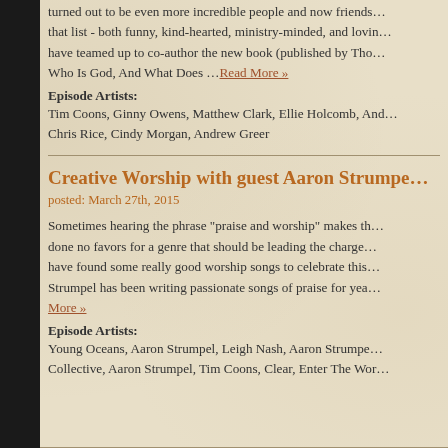turned out to be even more incredible people and now friends that list - both funny, kind-hearted, ministry-minded, and loving have teamed up to co-author the new book (published by Tho Who Is God, And What Does …Read More »
Episode Artists:
Tim Coons, Ginny Owens, Matthew Clark, Ellie Holcomb, And Chris Rice, Cindy Morgan, Andrew Greer
Creative Worship with guest Aaron Strumpe
posted: March 27th, 2015
Sometimes hearing the phrase "praise and worship" makes th done no favors for a genre that should be leading the charge have found some really good worship songs to celebrate this Strumpel has been writing passionate songs of praise for yea More »
Episode Artists:
Young Oceans, Aaron Strumpel, Leigh Nash, Aaron Strumpe Collective, Aaron Strumpel, Tim Coons, Clear, Enter The Wor